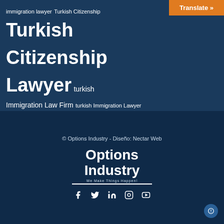immigration lawyer Turkish Citizenship Turkish Citizenship Lawyer turkish Immigration Law Firm turkish Immigration Lawyer wardrobes web west seattle blog [non-latin text]
[Figure (logo): Options Industry logo with tagline 'We Make Things Happen!']
© Options Industry - Diseño: Nectar Web
[Figure (other): Social media icons: Facebook, Twitter, LinkedIn, Instagram, YouTube]